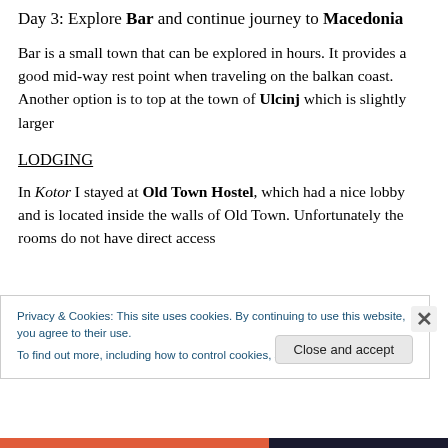Day 3: Explore Bar and continue journey to Macedonia
Bar is a small town that can be explored in hours. It provides a good mid-way rest point when traveling on the balkan coast. Another option is to top at the town of Ulcinj which is slightly larger
LODGING
In Kotor I stayed at Old Town Hostel, which had a nice lobby and is located inside the walls of Old Town. Unfortunately the rooms do not have direct access
Privacy & Cookies: This site uses cookies. By continuing to use this website, you agree to their use.
To find out more, including how to control cookies, see here: Cookie Policy
Close and accept